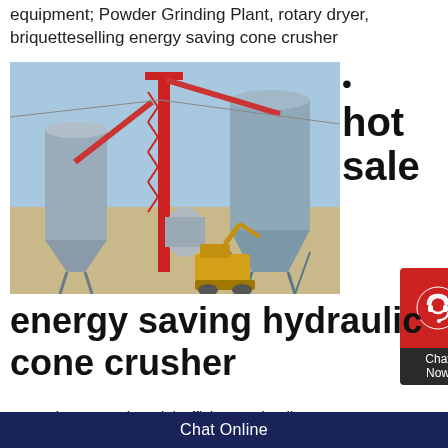equipment; Powder Grinding Plant, rotary dryer, briquetteselling energy saving cone crusher
[Figure (photo): Industrial mineral processing plant with large silos, red conveyor tower structure, and yellow excavator on sandy terrain]
• hot sale
energy saving hydraulic cone crusher
Hot Sale Gpy Series HighEfficient Hydraulic Cone
Chat Online